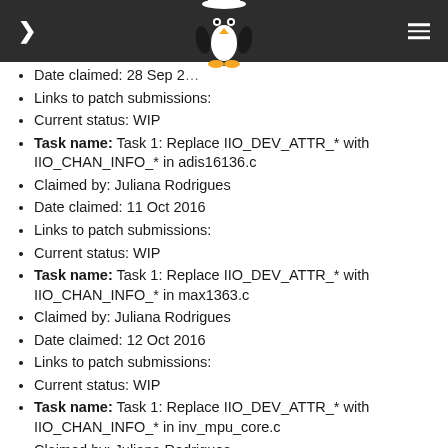Linux kernel task list header with navigation
Date claimed: 28 Sep 2...
Links to patch submissions:
Current status: WIP
Task name: Task 1: Replace IIO_DEV_ATTR_* with IIO_CHAN_INFO_* in adis16136.c
Claimed by: Juliana Rodrigues
Date claimed: 11 Oct 2016
Links to patch submissions:
Current status: WIP
Task name: Task 1: Replace IIO_DEV_ATTR_* with IIO_CHAN_INFO_* in max1363.c
Claimed by: Juliana Rodrigues
Date claimed: 12 Oct 2016
Links to patch submissions:
Current status: WIP
Task name: Task 1: Replace IIO_DEV_ATTR_* with IIO_CHAN_INFO_* in inv_mpu_core.c
Claimed by: Juliana Rodrigues
Date claimed: 13 Oct 2016
Links to patch submissions: